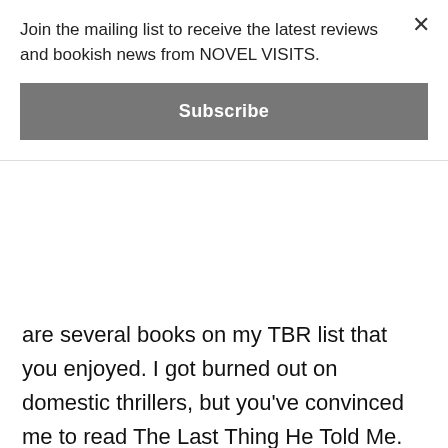Join the mailing list to receive the latest reviews and bookish news from NOVEL VISITS.
Subscribe
are several books on my TBR list that you enjoyed. I got burned out on domestic thrillers, but you've convinced me to read The Last Thing He Told Me.
Take good care.
Reply
Susie says